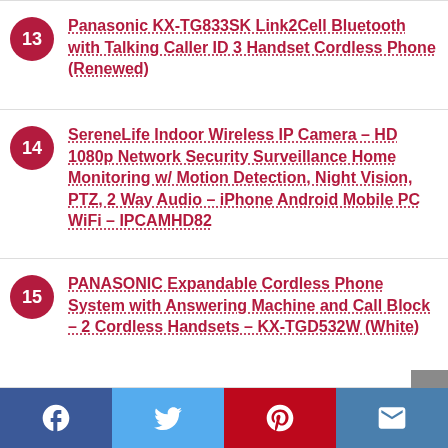13 Panasonic KX-TG833SK Link2Cell Bluetooth with Talking Caller ID 3 Handset Cordless Phone (Renewed)
14 SereneLife Indoor Wireless IP Camera – HD 1080p Network Security Surveillance Home Monitoring w/ Motion Detection, Night Vision, PTZ, 2 Way Audio – iPhone Android Mobile PC WiFi – IPCAMHD82
15 PANASONIC Expandable Cordless Phone System with Answering Machine and Call Block – 2 Cordless Handsets – KX-TGD532W (White)
Social share bar: Facebook, Twitter, Pinterest, Email